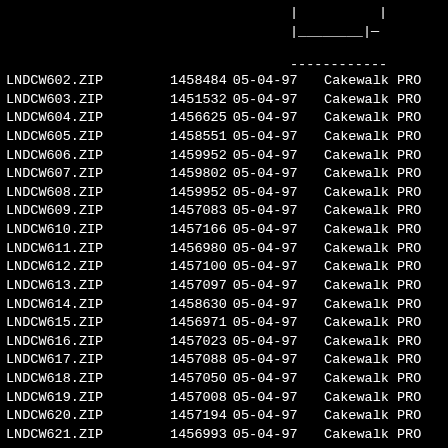|	|
|________|—
------------
| Name | Size | Date | Description |
| --- | --- | --- | --- |
| LNDCW602.ZIP | 1458484 | 05-04-97 | Cakewalk PRO |
| LNDCW603.ZIP | 1451532 | 05-04-97 | Cakewalk PRO |
| LNDCW604.ZIP | 1456625 | 05-04-97 | Cakewalk PRO |
| LNDCW605.ZIP | 1458551 | 05-04-97 | Cakewalk PRO |
| LNDCW606.ZIP | 1459952 | 05-04-97 | Cakewalk PRO |
| LNDCW607.ZIP | 1459802 | 05-04-97 | Cakewalk PRO |
| LNDCW608.ZIP | 1459952 | 05-04-97 | Cakewalk PRO |
| LNDCW609.ZIP | 1457083 | 05-04-97 | Cakewalk PRO |
| LNDCW610.ZIP | 1457166 | 05-04-97 | Cakewalk PRO |
| LNDCW611.ZIP | 1456980 | 05-04-97 | Cakewalk PRO |
| LNDCW612.ZIP | 1457100 | 05-04-97 | Cakewalk PRO |
| LNDCW613.ZIP | 1457097 | 05-04-97 | Cakewalk PRO |
| LNDCW614.ZIP | 1458630 | 05-04-97 | Cakewalk PRO |
| LNDCW615.ZIP | 1456971 | 05-04-97 | Cakewalk PRO |
| LNDCW616.ZIP | 1457023 | 05-04-97 | Cakewalk PRO |
| LNDCW617.ZIP | 1457088 | 05-04-97 | Cakewalk PRO |
| LNDCW618.ZIP | 1457050 | 05-04-97 | Cakewalk PRO |
| LNDCW619.ZIP | 1457008 | 05-04-97 | Cakewalk PRO |
| LNDCW620.ZIP | 1457194 | 05-04-97 | Cakewalk PRO |
| LNDCW621.ZIP | 1456993 | 05-04-97 | Cakewalk PRO |
| LNDCW622.ZIP | 1457143 | 05-04-97 | Cakewalk PRO |
| LNDCW623.ZIP | 1456968 | 05-04-97 | Cakewalk PRO |